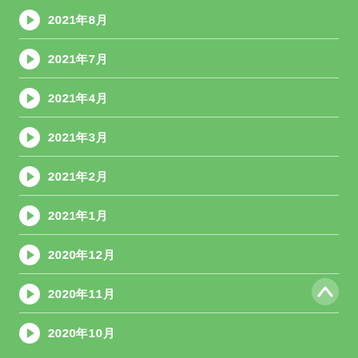2021年8月
2021年7月
2021年4月
2021年3月
2021年2月
2021年1月
2020年12月
2020年11月
2020年10月